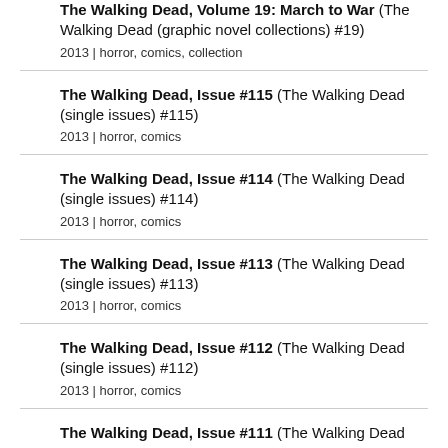The Walking Dead, Volume 19: March to War (The Walking Dead (graphic novel collections) #19)
2013 | horror, comics, collection
The Walking Dead, Issue #115 (The Walking Dead (single issues) #115)
2013 | horror, comics
The Walking Dead, Issue #114 (The Walking Dead (single issues) #114)
2013 | horror, comics
The Walking Dead, Issue #113 (The Walking Dead (single issues) #113)
2013 | horror, comics
The Walking Dead, Issue #112 (The Walking Dead (single issues) #112)
2013 | horror, comics
The Walking Dead, Issue #111 (The Walking Dead